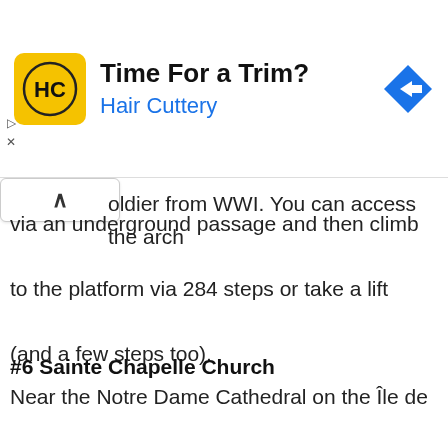[Figure (infographic): Hair Cuttery advertisement banner with yellow square logo showing HC letters, text 'Time For a Trim?' and 'Hair Cuttery' in blue, plus a blue diamond navigation arrow icon]
oldier from WWI. You can access the arch via an underground passage and then climb to the platform via 284 steps or take a lift (and a few steps too).
#6 Sainte Chapelle Church
Near the Notre Dame Cathedral on the Île de la Cité island is a little Gothic gem known as Sainte Chapelle (Holy Church). Consisting of a plain lowe r
[Figure (photo): Interior of Sainte Chapelle church showing tall Gothic arched windows with colorful stained glass, ribbed vaulting, and ornate stone columns]